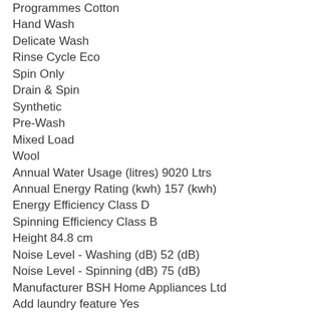Programmes Cotton
Hand Wash
Delicate Wash
Rinse Cycle Eco
Spin Only
Drain & Spin
Synthetic
Pre-Wash
Mixed Load
Wool
Annual Water Usage (litres) 9020 Ltrs
Annual Energy Rating (kwh) 157 (kwh)
Energy Efficiency Class D
Spinning Efficiency Class B
Height 84.8 cm
Noise Level - Washing (dB) 52 (dB)
Noise Level - Spinning (dB) 75 (dB)
Manufacturer BSH Home Appliances Ltd
Add laundry feature Yes
Product Type Washing Machine
Water Supply (Cold/Hot) Cold Fill
Width 59.8 cm
Time Delay Up to 24 Hours